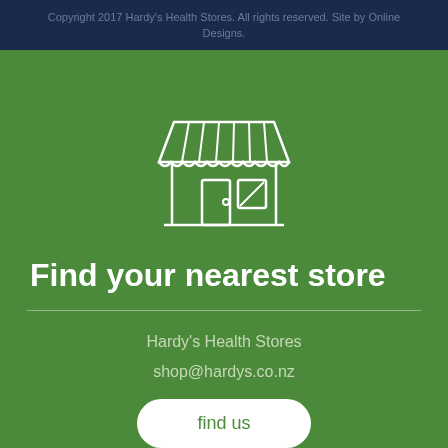Copyright 2017 Hardy's Health Stores. All rights reserved. Site by Online Designs.
[Figure (illustration): Line art icon of a store front with striped awning, door with doorknob, and a window]
Find your nearest store
Hardy's Health Stores
shop@hardys.co.nz
find us